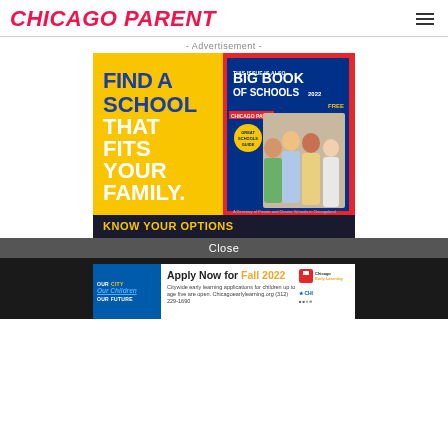CHICAGO PARENT
- Advertisement -
[Figure (photo): Chicago Parent Big Book of Schools 2022 advertisement. Left half yellow background with bold blue and white text reading 'FIND A SCHOOL THAT FITS YOUR FAMILY.' Right half shows the Big Book of Schools 2022 magazine cover with children in a classroom. Bottom strip reads 'Know Your Options'.]
Close
[Figure (infographic): Chicago Early Learning advertisement. Left blue panel reads 'OUR CITY Our Children OUR FUTURE'. Right white panel reads 'Apply Now for Fall 2022 - Citywide early learning applications for children up to age five are open. Chicagoearlylearning.org (312) 229-1690' with organizational logos.]